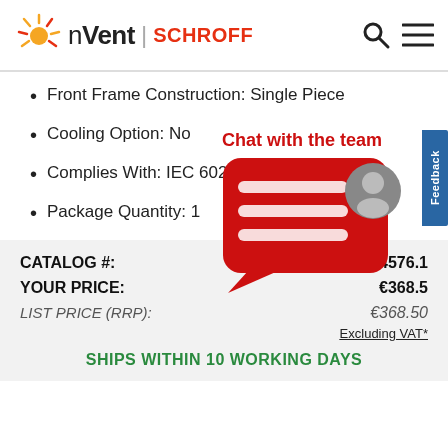[Figure (logo): nVent SCHROFF logo with sun/starburst graphic and red SCHROFF text]
Front Frame Construction: Single Piece
Cooling Option: No
Complies With: IEC 60297-3-101
Package Quantity: 1
[Figure (illustration): Chat with the team widget showing a red speech bubble with a person avatar]
| CATALOG #: | 24576.1 |
| YOUR PRICE: | €368.5 |
| LIST PRICE (RRP): | €368.50 |
Excluding VAT*
SHIPS WITHIN 10 WORKING DAYS